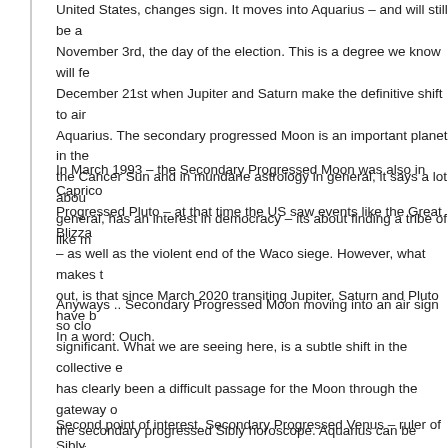United States, changes sign. It moves into Aquarius – and will still be a November 3rd, the day of the election. This is a degree we know will fe December 21st when Jupiter and Saturn make the definitive shift to air Aquarius. The secondary progressed Moon is an important planet in the the Cancer Sun and in mundane astrology in general, it says a lot abou general, has an interest in democracy – its about finding a tribe of like m
In March 1993 – the Secondary Progressed Moon was also in Caprico Progressed Pluto – at that time the US saw events like the Great Blizza – as well as the violent end of the Waco siege. However, what makes t out, is that since March 2020 transiting Jupiter, Saturn and Pluto have b In a word: Ouch.
Anyways .. Secondary Progressed Moon moving into an air sign so clo significant. What we are seeing here, is a subtle shift in the collective e has clearly been a difficult passage for the Moon through the gateway o the secondary progressed Sibly horoscope. Aquarius can be erratic an off the wall, insanely different. Biden appears – rather dull in compariso
Second point of interest. Secondary Progressed Venus – ruler of Sibly radix 10th house – has moved into Taurus – and is actually conjunct wi female running mate – a clever move on his part. Say what you will abo